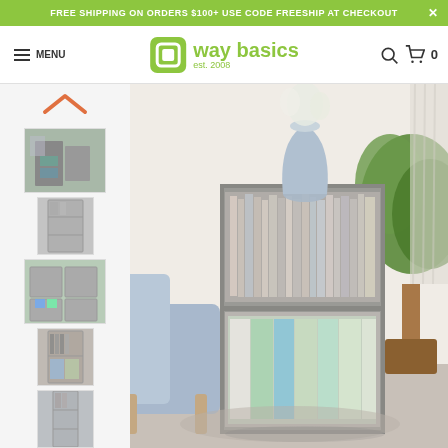FREE SHIPPING ON ORDERS $100+ USE CODE FREESHIP AT CHECKOUT
[Figure (logo): Way Basics logo with green square icon and text 'way basics est. 2008']
[Figure (photo): Main product photo: gray storage cube bookshelf with 3 compartments, containing books and colorful folders/boxes, styled in a living room with blue chair and green plant]
[Figure (photo): Thumbnail 1: Same bookshelf in a room setting with other furniture]
[Figure (photo): Thumbnail 2: Front view of gray 3-shelf bookcase]
[Figure (photo): Thumbnail 3: Top view of cube bookshelf units]
[Figure (photo): Thumbnail 4: Bookshelf with books and records]
[Figure (photo): Thumbnail 5: Tall narrow bookcase front view]